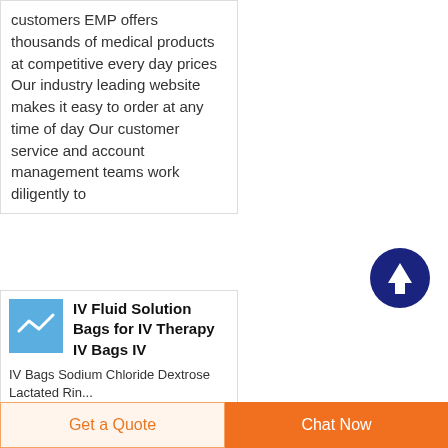customers EMP offers thousands of medical products at competitive every day prices Our industry leading website makes it easy to order at any time of day Our customer service and account management teams work diligently to
[Figure (illustration): Blue square icon with a white checkmark/waveform graphic representing a medical product]
IV Fluid Solution Bags for IV Therapy IV Bags IV
IV Bags Sodium Chloride Dextrose Lactated Ringer
Get a Quote
Chat Now